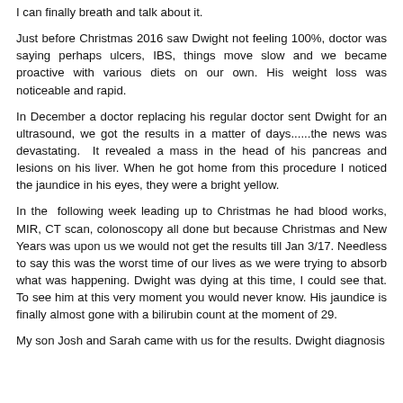I can finally breath and talk about it.
Just before Christmas 2016 saw Dwight not feeling 100%, doctor was saying perhaps ulcers, IBS, things move slow and we became proactive with various diets on our own. His weight loss was noticeable and rapid.
In December a doctor replacing his regular doctor sent Dwight for an ultrasound, we got the results in a matter of days......the news was devastating. It revealed a mass in the head of his pancreas and lesions on his liver. When he got home from this procedure I noticed the jaundice in his eyes, they were a bright yellow.
In the following week leading up to Christmas he had blood works, MIR, CT scan, colonoscopy all done but because Christmas and New Years was upon us we would not get the results till Jan 3/17. Needless to say this was the worst time of our lives as we were trying to absorb what was happening. Dwight was dying at this time, I could see that. To see him at this very moment you would never know. His jaundice is finally almost gone with a bilirubin count at the moment of 29.
My son Josh and Sarah came with us for the results. Dwight diagnosis